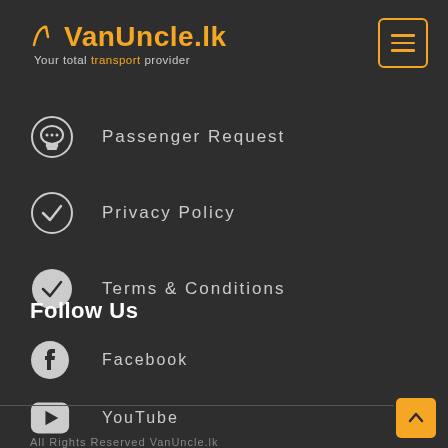VanUncle.lk – Your total transport provider
Passenger Request
Privacy Policy
Terms & Conditions
Follow Us
Facebook
YouTube
Instagram
All Rights Reserved VanUncle.lk